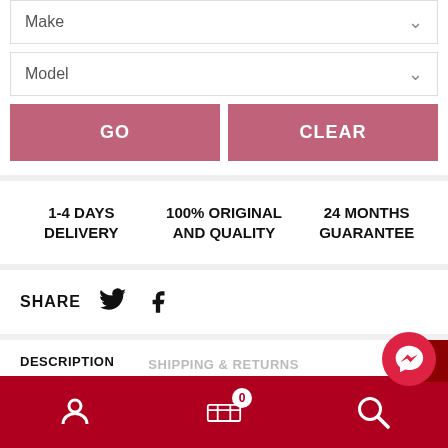Make
Model
GO
CLEAR
1-4 DAYS DELIVERY
100% ORIGINAL AND QUALITY
24 MONTHS GUARANTEE
SHARE
DESCRIPTION
SHIPPING & RETURNS